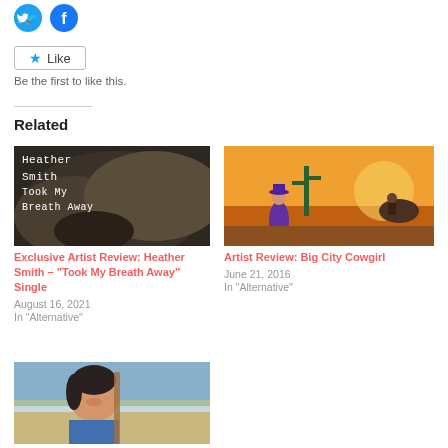[Figure (other): Twitter and Facebook social share icon buttons (blue circles with bird and f logos)]
Like
Be the first to like this.
Related
[Figure (photo): Album cover for Heather Smith 'Took My Breath Away' — dark rocky background with white typewriter-font text overlay]
Exclusive Artist Review: Heather Smith – "Took My Breath Away" Single
August 16, 2021
In "Alternative"
[Figure (illustration): Illustrated artwork showing a woman in a purple dress and cowboy hat standing in a desert at sunset, with a person on horseback in the background]
Artist Review: Big City Cowgirl
June 21, 2016
In "Alternative"
[Figure (photo): Photo of a woman smiling outdoors in a desert landscape, holding a guitar neck, wearing a blue top]